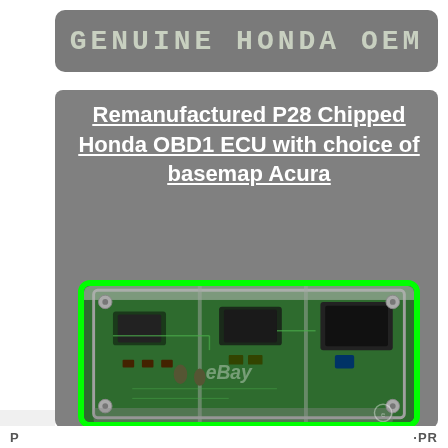GENUINE HONDA OEM
Remanufactured P28 Chipped Honda OBD1 ECU with choice of basemap Acura
[Figure (photo): Photo of a remanufactured Honda P28 OBD1 ECU circuit board (green PCB) inside an open aluminum housing, surrounded by a bright green border frame. The eBay watermark is visible at the bottom of the image.]